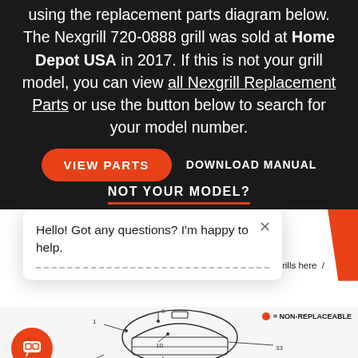using the replacement parts diagram below. The Nexgrill 720-0888 grill was sold at Home Depot USA in 2017. If this is not your grill model, you can view all Nexgrill Replacement Parts or use the button below to search for your model number.
[Figure (screenshot): Two buttons: a red rounded 'VIEW PARTS' button and a dark 'DOWNLOAD MANUAL' text button]
NOT YOUR MODEL?
[Figure (screenshot): Chat popup widget with grill icon, close X button, and text 'Hello! Got any questions? I'm happy to help.' Partially overlapping the parts diagram section below. Background shows Nexgrill Grills breadcrumb and orange diagonal band.]
[Figure (engineering-diagram): Partial parts diagram of Nexgrill 720-0888 grill showing numbered parts (1, 2, 9, 10, 11, 33) with callout lines. Non-replaceable legend dot in top right. Red circular chat button in bottom left.]